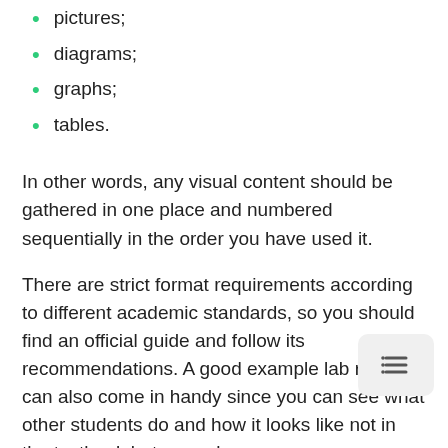pictures;
diagrams;
graphs;
tables.
In other words, any visual content should be gathered in one place and numbered sequentially in the order you have used it.
There are strict format requirements according to different academic standards, so you should find an official guide and follow its recommendations. A good example lab report can also come in handy since you can see what other students do and how it looks like not in the textbook but on real paper.
References
When you cite some facts or use someone else's